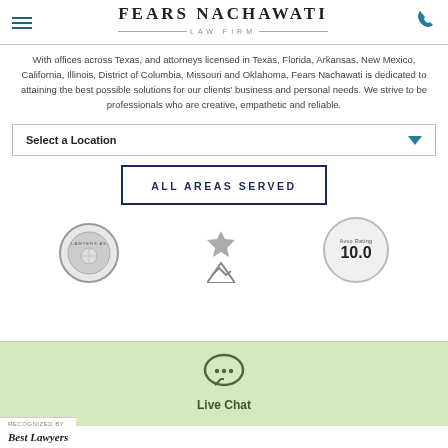FEARS NACHAWATI LAW FIRM
With offices across Texas, and attorneys licensed in Texas, Florida, Arkansas, New Mexico, California, Illinois, District of Columbia, Missouri and Oklahoma, Fears Nachawati is dedicated to attaining the best possible solutions for our clients' business and personal needs. We strive to be professionals who are creative, empathetic and reliable.
Select a Location
ALL AREAS SERVED
[Figure (logo): Badges row: Lawyers Association seal, center icon, Avvo Rating 10.0 badge]
Live Chat
Best Lawyers